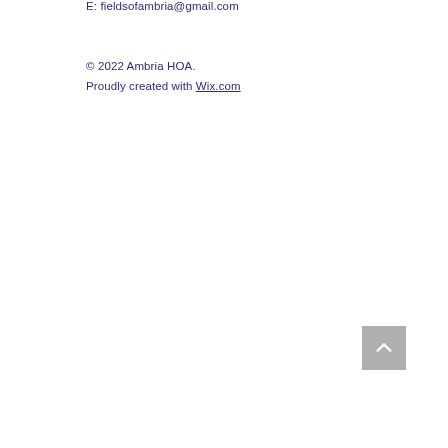E: fieldsofambria@gmail.com
© 2022 Ambria HOA.
Proudly created with Wix.com